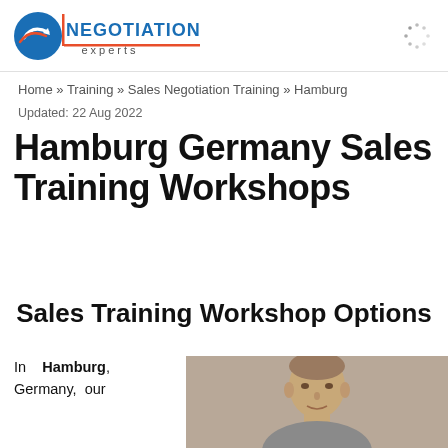[Figure (logo): Negotiation Experts logo with circular arrow icon in blue and red, text NEGOTIATION experts]
[Figure (other): Loading spinner dots in top right corner]
Home » Training » Sales Negotiation Training » Hamburg
Updated: 22 Aug 2022
Hamburg Germany Sales Training Workshops
Sales Training Workshop Options
In Hamburg, Germany, our
[Figure (photo): Photo of a man from shoulders up, partial view at bottom right of page]